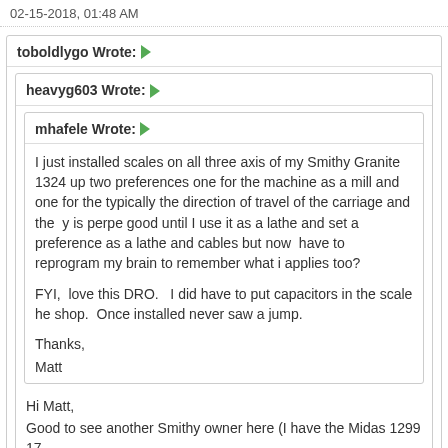02-15-2018, 01:48 AM
toboldlygo Wrote: →
heavyg603 Wrote: →
mhafele Wrote: →
I just installed scales on all three axis of my Smithy Granite 1324 up two preferences one for the machine as a mill and one for the typically the direction of travel of the carriage and the y is perpe good until I use it as a lathe and set a preference as a lathe and cables but now have to reprogram my brain to remember what i applies too?
FYI, love this DRO. I did have to put capacitors in the scale he shop. Once installed never saw a jump.
Thanks,
Matt
Hi Matt,
Good to see another Smithy owner here (I have the Midas 1299 17